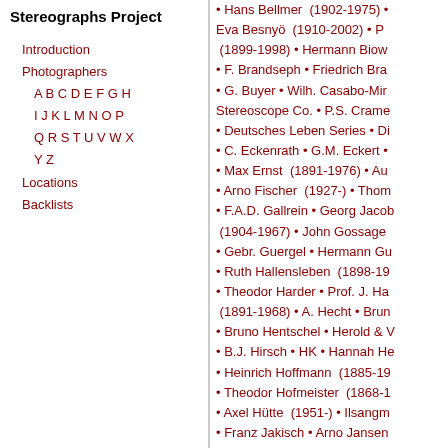Stereographs Project
Introduction
Photographers
A B C D E F G H
I J K L M N O P
Q R S T U V W X
Y Z
Locations
Backlists
• Hans Bellmer (1902-1975) • Eva Besnyö (1910-2002) • (1899-1998) • Hermann Biow • F. Brandseph • Friedrich Bra • G. Buyer • Wilh. Casabo-Mir Stereoscope Co. • P.S. Crame • Deutsches Leben Series • Di • C. Eckenrath • G.M. Eckert • • Max Ernst (1891-1976) • Au • Arno Fischer (1927-) • Thom • F.A.D. Gallrein • Georg Jacob (1904-1967) • John Gossage • Gebr. Guergel • Hermann Gu • Ruth Hallensleben (1898-19 • Theodor Harder • Prof. J. Ha (1891-1968) • A. Hecht • Brun • Bruno Hentschel • Herold & (1904- 1967) • B.J. Hirsch • HK • Hannah He • Heinrich Hoffmann (1885-19 • Theodor Hofmeister (1868-1 • Axel Hütte (1951-) • Ilsangm • Franz Jakisch • Arno Jansen Kunsthandlung • Peter Keetma (1939-) • Otto Kilger • E. Klau (1842-1909) • J. Kösler • B. K • M. Kriegsmann • Kroll • Herm • Lehmann, Verlag von J.F. • G Nerlinger (1893-1975) • Max 1862) • Loescher & Petsch • P 2007) • Werner Mantz (1901